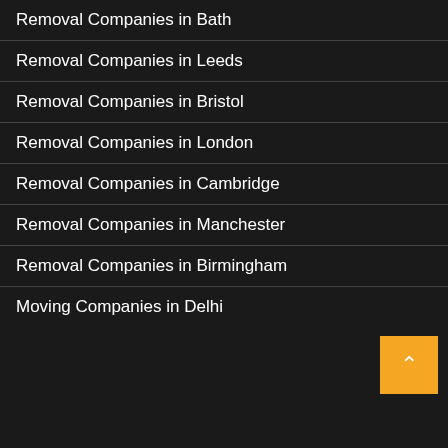Removal Companies in Bath
Removal Companies in Leeds
Removal Companies in Bristol
Removal Companies in London
Removal Companies in Cambridge
Removal Companies in Manchester
Removal Companies in Birmingham
Moving Companies in Delhi